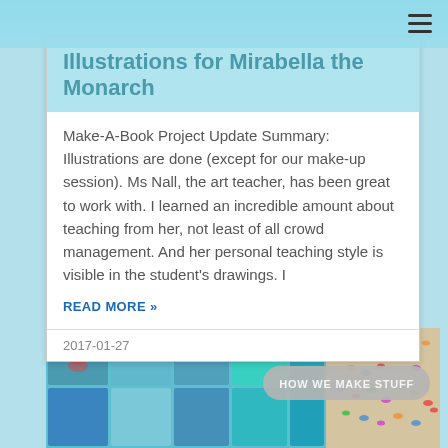Illustrations for Mirabella the Monarch
Make-A-Book Project Update Summary: Illustrations are done (except for our make-up session). Ms Nall, the art teacher, has been great to work with. I learned an incredible amount about teaching from her, not least of all crowd management. And her personal teaching style is visible in the student's drawings. I
READ MORE »
2017-01-27
[Figure (photo): Photo of colorful student artwork and butterfly illustrations spread on cardboard, with a 'HOW WE MAKE STUFF' badge overlay]